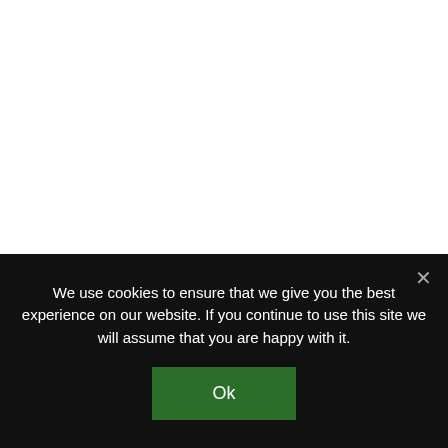This grow light offers two dimmers and a twelve-band full spectrum to support indoor plant growth whether you want to grow vegetables or encourage
We use cookies to ensure that we give you the best experience on our website. If you continue to use this site we will assume that you are happy with it.